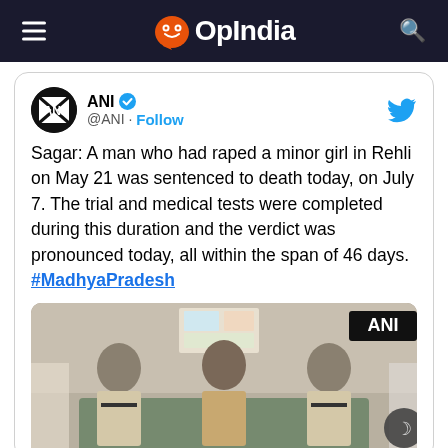OpIndia
[Figure (screenshot): Tweet from ANI (@ANI) with verified badge and Follow button. Tweet text: Sagar: A man who had raped a minor girl in Rehli on May 21 was sentenced to death today, on July 7. The trial and medical tests were completed during this duration and the verdict was pronounced today, all within the span of 46 days. #MadhyaPradesh. Below tweet is an ANI news photo showing two police officers flanking a man seated on green chairs in an indoor setting.]